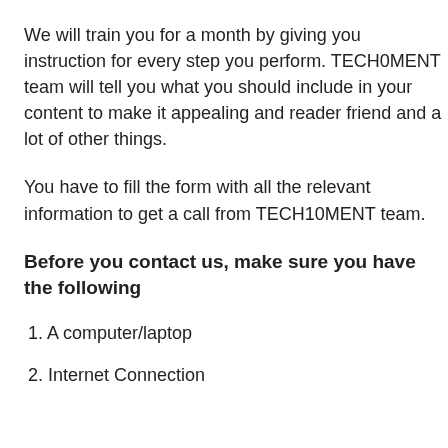We will train you for a month by giving you instruction for every step you perform. TECH0MENT team will tell you what you should include in your content to make it appealing and reader friend and a lot of other things.
You have to fill the form with all the relevant information to get a call from TECH10MENT team.
Before you contact us, make sure you have the following
1. A computer/laptop
2. Internet Connection